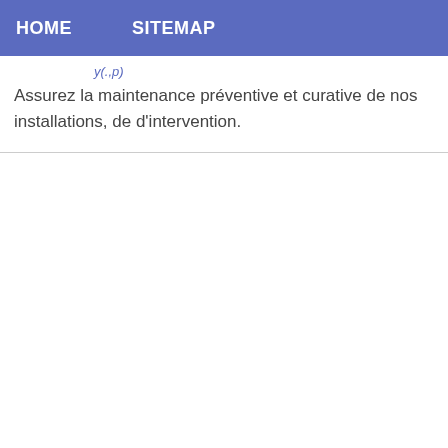HOME   SITEMAP
Assurez la maintenance préventive et curative de nos installations, de d'intervention.